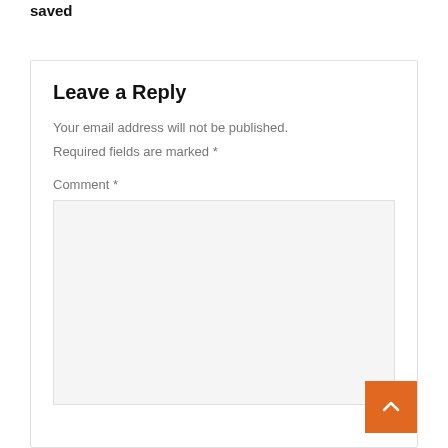saved
Leave a Reply
Your email address will not be published.
Required fields are marked *
Comment *